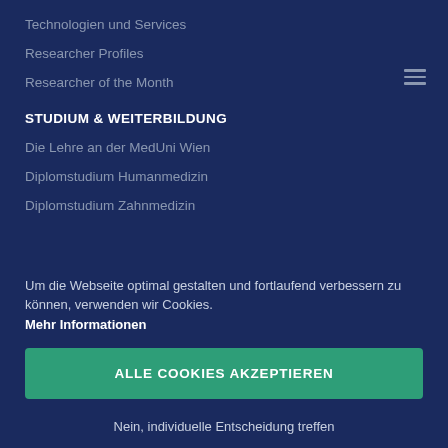Technologien und Services
Researcher Profiles
Researcher of the Month
STUDIUM & WEITERBILDUNG
Die Lehre an der MedUni Wien
Diplomstudium Humanmedizin
Diplomstudium Zahnmedizin
Um die Webseite optimal gestalten und fortlaufend verbessern zu können, verwenden wir Cookies.
Mehr Informationen
ALLE COOKIES AKZEPTIEREN
Nein, individuelle Entscheidung treffen